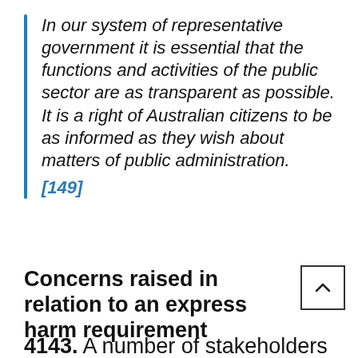In our system of representative government it is essential that the functions and activities of the public sector are as transparent as possible. It is a right of Australian citizens to be as informed as they wish about matters of public administration. [149]
Concerns raised in relation to an express harm requirement
4143.  A number of stakeholders